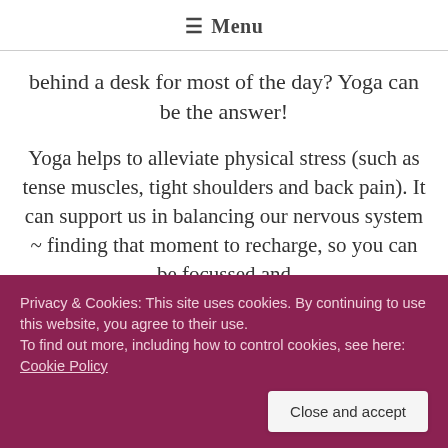≡ Menu
behind a desk for most of the day? Yoga can be the answer!
Yoga helps to alleviate physical stress (such as tense muscles, tight shoulders and back pain). It can support us in balancing our nervous system ~ finding that moment to recharge, so you can be focussed and
Privacy & Cookies: This site uses cookies. By continuing to use this website, you agree to their use.
To find out more, including how to control cookies, see here: Cookie Policy
Close and accept